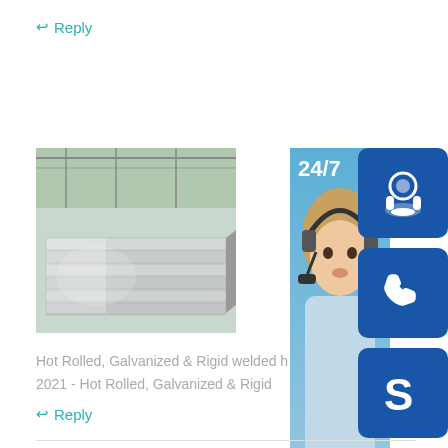↩ Reply
[Figure (photo): Stack of metal sheets (hot rolled, galvanized) in a warehouse]
[Figure (infographic): 24/7 customer support widget with headset icon, phone icon, Skype icon, woman with headset, 'PROVIDE Empowering Customers' text, and 'online live' button]
Hot Rolled, Galvanized & Rigid welded h
2021 - Hot Rolled, Galvanized & Rigid
↩ Reply
Reply comment
Your Name